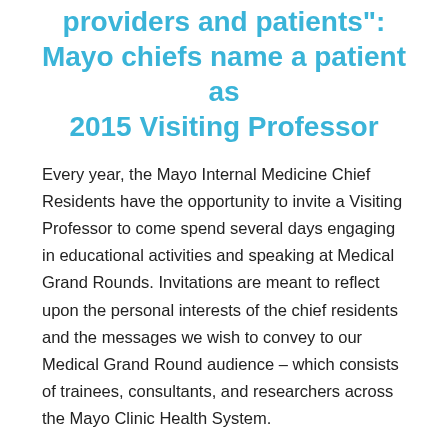providers and patients": Mayo chiefs name a patient as 2015 Visiting Professor
Every year, the Mayo Internal Medicine Chief Residents have the opportunity to invite a Visiting Professor to come spend several days engaging in educational activities and speaking at Medical Grand Rounds. Invitations are meant to reflect upon the personal interests of the chief residents and the messages we wish to convey to our Medical Grand Round audience – which consists of trainees, consultants, and researchers across the Mayo Clinic Health System.
Over the last three years, previous chief residents have selected leaders in the fields of medical education (Dr. Jeffrey